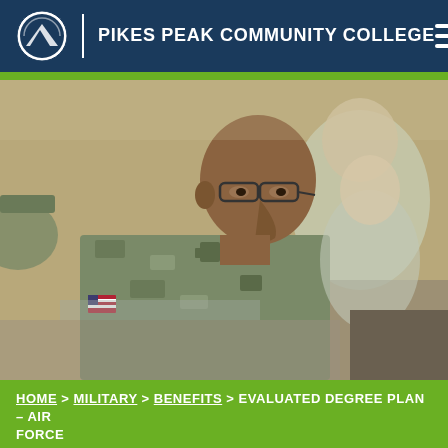PIKES PEAK COMMUNITY COLLEGE
[Figure (photo): Military soldier in camouflage uniform wearing glasses, sitting in a classroom setting, seen in profile view. Another soldier visible in the background.]
HOME > MILITARY > BENEFITS > EVALUATED DEGREE PLAN – AIR FORCE